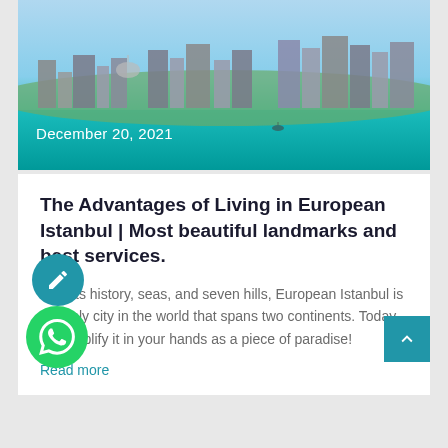[Figure (photo): Aerial/waterfront photo of Istanbul skyline with skyscrapers, buildings, and turquoise Bosphorus waterway under a blue sky. Date overlay reads 'December 20, 2021'.]
December 20, 2021
The Advantages of Living in European Istanbul | Most beautiful landmarks and best services.
With its history, seas, and seven hills, European Istanbul is the only city in the world that spans two continents. Today, we simplify it in your hands as a piece of paradise!
Read more